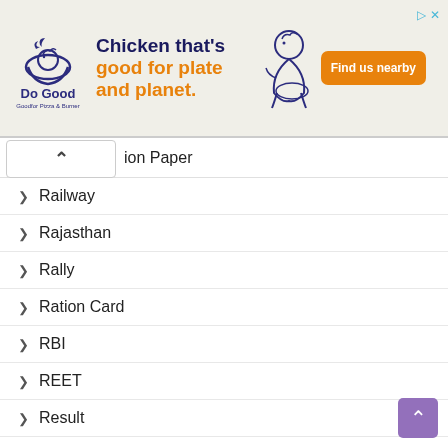[Figure (illustration): Do Good chicken restaurant advertisement banner with logo, tagline 'Chicken that's good for plate and planet.', chicken illustrations, and 'Find us nearby' orange button]
ion Paper
Railway
Rajasthan
Rally
Ration Card
RBI
REET
Result
RGPV
RITES
RMLAU
RO ARO
RPSC